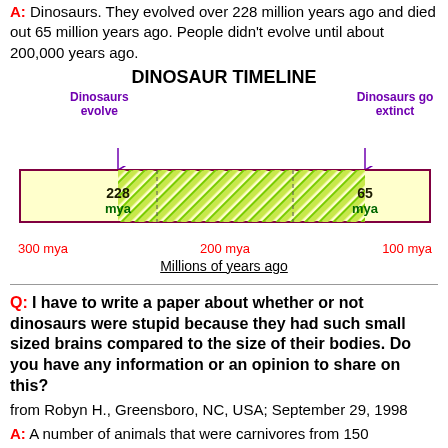A: Dinosaurs. They evolved over 228 million years ago and died out 65 million years ago. People didn't evolve until about 200,000 years ago.
[Figure (infographic): Dinosaur Timeline showing dinosaurs evolving at 228 mya and going extinct at 65 mya, with a striped green bar representing the dinosaur era, x-axis labeled in millions of years ago from 300 to 0 mya.]
Millions of years ago
Q: I have to write a paper about whether or not dinosaurs were stupid because they had such small sized brains compared to the size of their bodies. Do you have any information or an opinion to share on this? from Robyn H., Greensboro, NC, USA; September 29, 1998
A: A number of animals that were carnivores from 150